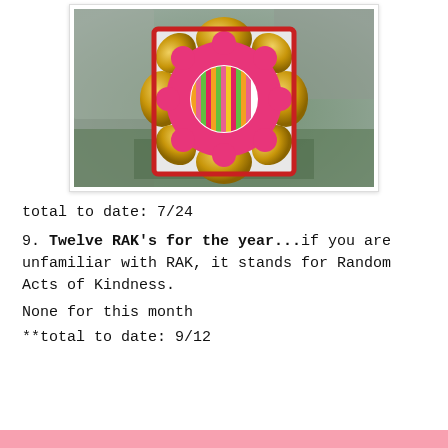[Figure (photo): Photo of a pink flower-shaped gift/candy box with colorful striped center, placed on a stone/concrete surface. The box has gold foil wrapped chocolates visible at the petal edges.]
total to date: 7/24
9. Twelve RAK's for the year...if you are unfamiliar with RAK, it stands for Random Acts of Kindness.
None for this month
**total to date: 9/12